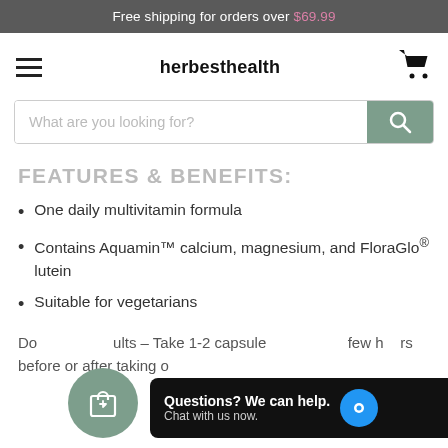Free shipping for orders over $69.99
herbesthealth
[Figure (screenshot): Search bar with placeholder text 'What are you looking for?' and a sage green search button with a magnifying glass icon]
FEATURES & BENEFITS:
One daily multivitamin formula
Contains Aquamin™ calcium, magnesium, and FloraGlo® lutein
Suitable for vegetarians
Dosage for Adults – Take 1-2 capsules a few hours before or after taking o…
[Figure (screenshot): Floating shopping bag with heart icon and chat widget 'Questions? We can help. Chat with us now.']